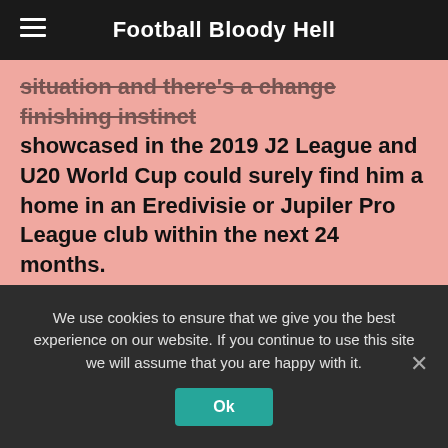Football Bloody Hell
showcased in the 2019 J2 League and U20 World Cup could surely find him a home in an Eredivisie or Jupiler Pro League club within the next 24 months.
[Figure (infographic): Social sharing buttons: Like 0 (Facebook like), Facebook, Twitter, WhatsApp, LinkedIn, Reddit, Email, Telegram]
We use cookies to ensure that we give you the best experience on our website. If you continue to use this site we will assume that you are happy with it.